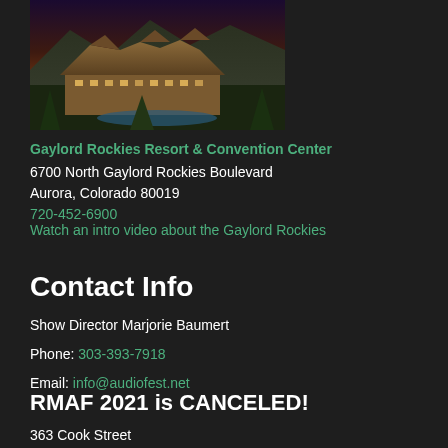[Figure (photo): Aerial/elevated view of Gaylord Rockies Resort & Convention Center at dusk, large hotel complex with mountains in background]
Gaylord Rockies Resort & Convention Center
6700 North Gaylord Rockies Boulevard
Aurora, Colorado 80019
720-452-6900
Watch an intro video about the Gaylord Rockies
Contact Info
Show Director Marjorie Baumert
Phone: 303-393-7918
Email: info@audiofest.net
RMAF 2021 is CANCELED!
363 Cook Street
Denver, CO 80206 USA